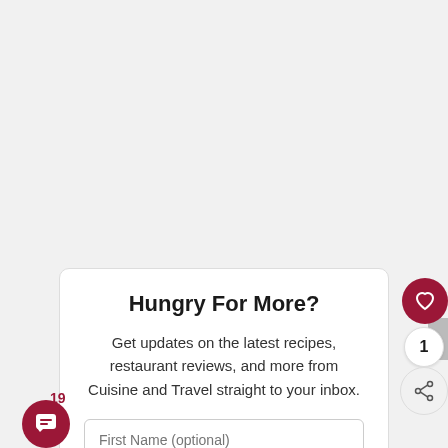Hungry For More?
Get updates on the latest recipes, restaurant reviews, and more from Cuisine and Travel straight to your inbox.
First Name (optional)